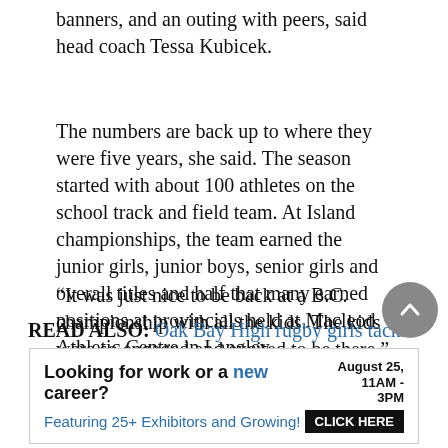banners, and an outing with peers, said head coach Tessa Kubicek.
The numbers are back up to where they were five years, she said. The season started with about 100 athletes on the school track and field team. At Island championships, the team earned the junior girls, junior boys, senior girls and overall titles and half that many earned positions at provincials held at Macleod Athletic Centre in Langley.
“It was just nice to be back at a B.C. championship with all the kids. The kids were so engaged and excited to be there.”
READ ALSO: Oak Bay High rugby girls tackle 7s
[Figure (other): Advertisement banner: Looking for work or a new career? August 25, 11AM-3PM. Featuring 25+ Exhibitors and Growing! CLICK HERE]